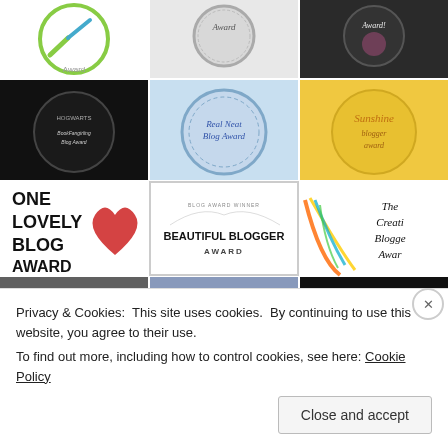[Figure (illustration): Grid of blogger award badge images: Row 1: green award logo, silver 'Award' badge, dark floral 'Award!' badge. Row 2: Hogwarts 'BookFangirling Blog Award' circle, 'Real Neat Blog Award' blue circle, 'Sunshine Blogger Award' gold circle. Row 3: 'ONE LOVELY BLOG AWARD' text with red heart, 'BEAUTIFUL BLOGGER AWARD' decorated badge, 'The Creative Blogger Award' colorful feather image. Row 4: three partially visible images including Dragon's Loyalty Award.]
Privacy & Cookies: This site uses cookies. By continuing to use this website, you agree to their use.
To find out more, including how to control cookies, see here: Cookie Policy
Close and accept